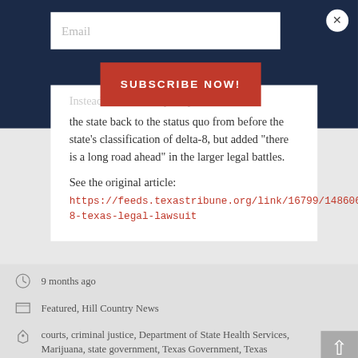[Figure (screenshot): Email subscription input field with placeholder text 'Email' on dark navy background]
[Figure (screenshot): Red 'SUBSCRIBE NOW!' button on dark navy background]
Instead, said the temporary order takes the state back to the status quo from before the state's classification of delta-8, but added "there is a long road ahead" in the larger legal battles.
See the original article:
https://feeds.texastribune.org/link/16799/14860653/delta-8-texas-legal-lawsuit
9 months ago
Featured, Hill Country News
courts, criminal justice, Department of State Health Services, Marijuana, state government, Texas Government, Texas